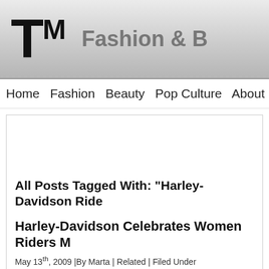TM Fashion & B
Home  Fashion  Beauty  Pop Culture  About
All Posts Tagged With: "Harley-Davidson Ride
Harley-Davidson Celebrates Women Riders M
May 13th, 2009 |By Marta | Related | Filed Under
Harley-Davidson celebrates Women Riders Month through